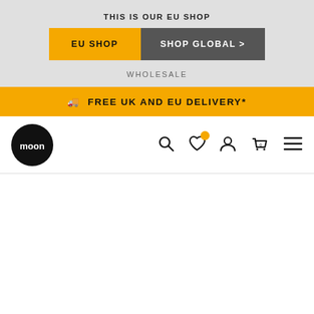THIS IS OUR EU SHOP
[Figure (screenshot): EU SHOP and SHOP GLOBAL > toggle buttons]
WHOLESALE
🚚 FREE UK AND EU DELIVERY*
[Figure (logo): Moon logo - black circle with moon text]
[Figure (screenshot): Navigation bar with search, wishlist, account, cart (0), and menu icons]